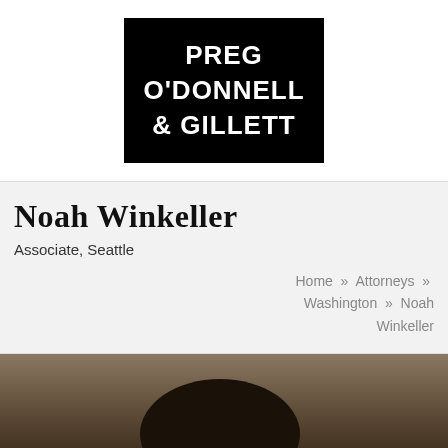[Figure (logo): Preg O'Donnell & Gillett law firm logo — white text on black background reading PREG O'DONNELL & GILLETT]
Noah Winkeller
Associate, Seattle
Home » Attorneys » Washington » Noah Winkeller
[Figure (photo): Headshot photo of Noah Winkeller, partially visible at bottom of page, dark brown background]